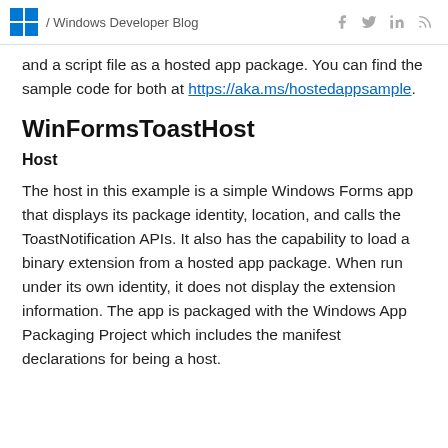/ Windows Developer Blog
and a script file as a hosted app package. You can find the sample code for both at https://aka.ms/hostedappsample.
WinFormsToastHost
Host
The host in this example is a simple Windows Forms app that displays its package identity, location, and calls the ToastNotification APIs. It also has the capability to load a binary extension from a hosted app package. When run under its own identity, it does not display the extension information. The app is packaged with the Windows App Packaging Project which includes the manifest declarations for being a host.